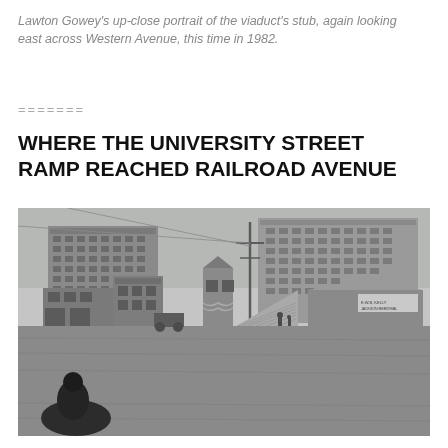Lawton Gowey's up-close portrait of the viaduct's stub, again looking east across Western Avenue, this time in 1982.
=======
WHERE THE UNIVERSITY STREET RAMP REACHED RAILROAD AVENUE
[Figure (photo): Historical black and white photograph showing an early 20th century street scene with multi-story brick buildings in the background, smaller commercial buildings in the middle ground, a ramp or elevated structure, a utility pole, and open unpaved ground in the foreground. A silhouette of a person is visible in the bottom left.]